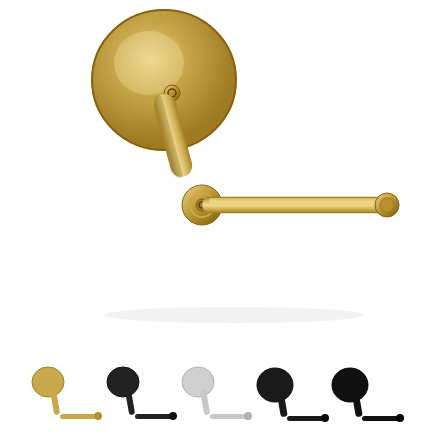[Figure (photo): A brushed gold/brass toilet paper holder with a circular wall-mount backplate, a vertical arm, and a horizontal rod extending to the right with a small end cap. The finish is brushed gold/champagne.]
[Figure (photo): Five small variant images of the same toilet paper holder design shown in different finishes: gold/brass, matte black, chrome/polished silver, dark bronze/black with larger backplate, and dark black with larger backplate.]